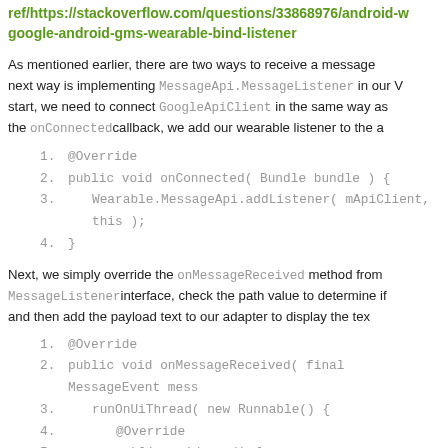ref/https://stackoverflow.com/questions/33868976/android-wear-google-android-gms-wearable-bind-listener
As mentioned earlier, there are two ways to receive a message. The next way is implementing MessageApi.MessageListener in our W... start, we need to connect GoogleApiClient in the same way as the onConnected callback, we add our wearable listener to the a...
1. @Override
2. public void onConnected( Bundle bundle ) {
3.     Wearable.MessageApi.addListener( mApiClient, this );
4. }
Next, we simply override the onMessageReceived method from MessageListener interface, check the path value to determine if and then add the payload text to our adapter to display the tex...
1. @Override
2. public void onMessageReceived( final MessageEvent mess...
3.     runOnUiThread( new Runnable() {
4.         @Override
5.         public void run() {